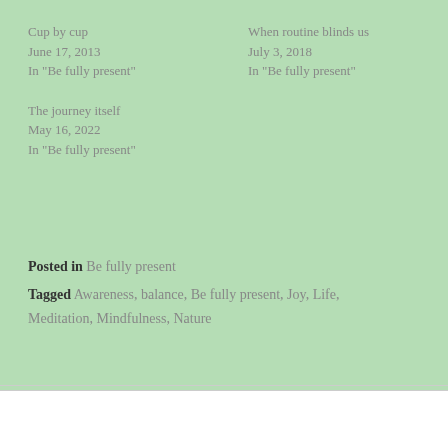Cup by cup
June 17, 2013
In "Be fully present"
When routine blinds us
July 3, 2018
In "Be fully present"
The journey itself
May 16, 2022
In "Be fully present"
Posted in Be fully present
Tagged Awareness, balance, Be fully present, Joy, Life, Meditation, Mindfulness, Nature
PREVIOUS POST
Accepting